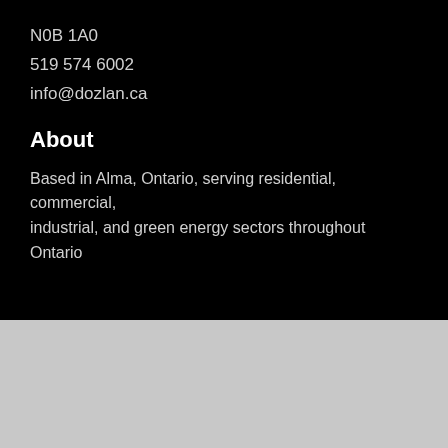N0B 1A0
519 574 6002
info@dozlan.ca
About
Based in Alma, Ontario, serving residential, commercial, industrial, and green energy sectors throughout Ontario
GET A QUOTE →
©2022 Dozlan
[Figure (logo): DOZLAN logo in gold/yellow text with underline]
Powered By innovative